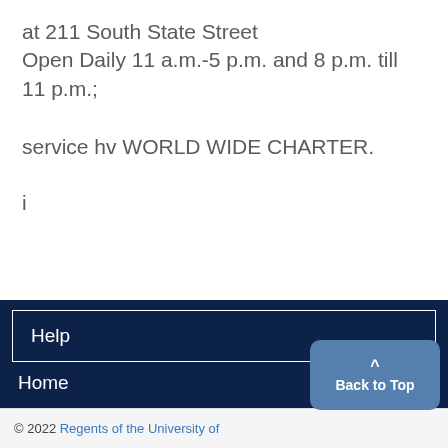at 211 South State Street
Open Daily 11 a.m.-5 p.m. and 8 p.m. till 11 p.m.;
service hv WORLD WIDE CHARTER.
i
Help
Home
© 2022 Regents of the University of
Back to Top